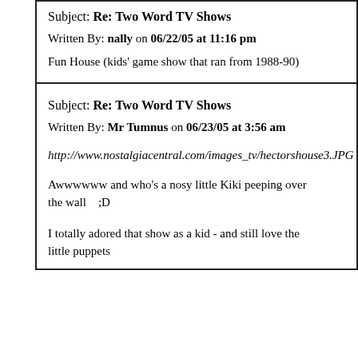Subject: Re: Two Word TV Shows
Written By: nally on 06/22/05 at 11:16 pm
Fun House (kids' game show that ran from 1988-90)
Subject: Re: Two Word TV Shows
Written By: Mr Tumnus on 06/23/05 at 3:56 am
http://www.nostalgiacentral.com/images_tv/hectorshouse3.JPG
Awwwwww and who's a nosy little Kiki peeping over the wall   ;D
I totally adored that show as a kid - and still love the little puppets